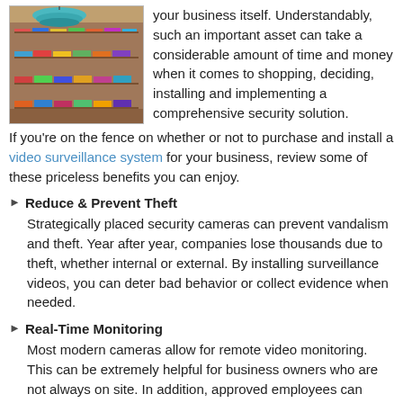[Figure (photo): Photo of a retail shop interior showing shelves of colorful products with a teal/blue lamp hanging from the ceiling.]
your business itself. Understandably, such an important asset can take a considerable amount of time and money when it comes to shopping, deciding, installing and implementing a comprehensive security solution. If you're on the fence on whether or not to purchase and install a video surveillance system for your business, review some of these priceless benefits you can enjoy.
Reduce & Prevent Theft
Strategically placed security cameras can prevent vandalism and theft. Year after year, companies lose thousands due to theft, whether internal or external. By installing surveillance videos, you can deter bad behavior or collect evidence when needed.
Real-Time Monitoring
Most modern cameras allow for remote video monitoring. This can be extremely helpful for business owners who are not always on site. In addition, approved employees can monitor critical areas of the property, enabling continuous surveillance. If you have multiple locations, you can connect all the cameras to the same network, allowing you to keep an eye on every location remotely.
Improve Productivity
The presence of security cameras can influence employees to be efficient and on their best behavior. The cameras can also improve communication between different locations